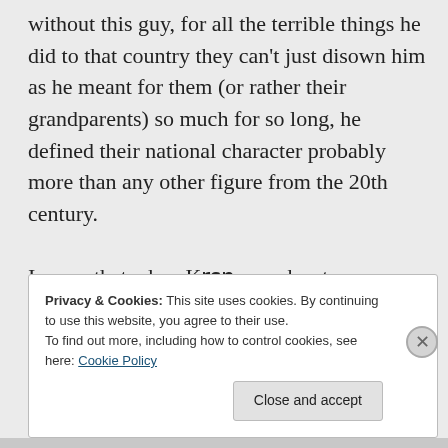without this guy, for all the terrible things he did to that country they can't just disown him as he meant for them (or rather their grandparents) so much for so long, he defined their national character probably more than any other figure from the 20th century.

I mean that when Kṛṣṇa reaches to us through someone, our guru, this
Privacy & Cookies: This site uses cookies. By continuing to use this website, you agree to their use.
To find out more, including how to control cookies, see here: Cookie Policy